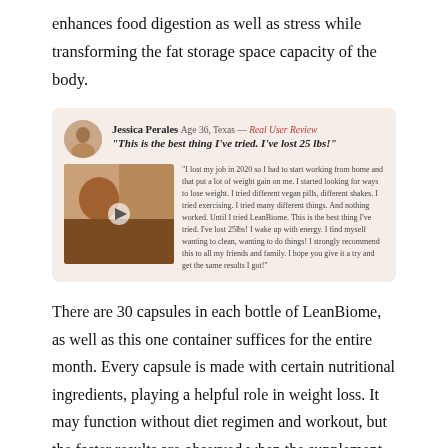enhances food digestion as well as stress while transforming the fat storage space capacity of the body.
[Figure (other): Testimonial box with user photo/video thumbnail and written review by Jessica Perales, Age 36, Texas. Quote: 'This is the best thing I've tried. I've lost 25 lbs!' with longer review text.]
There are 30 capsules in each bottle of LeanBiome, as well as this one container suffices for the entire month. Every capsule is made with certain nutritional ingredients, playing a helpful role in weight loss. It may function without diet regimen and workout, but the faster results are observed when the supplement is made use of along with a healthy diet plan and energetic lifestyle.
How Does LeanBiome Help in Weight-loss?